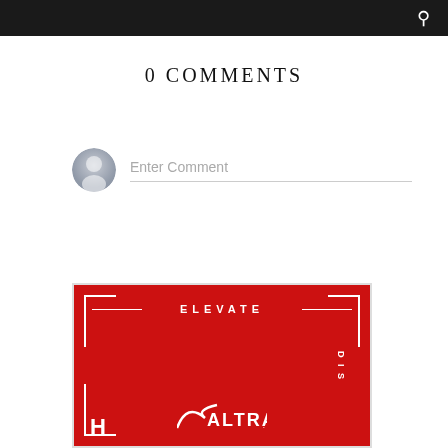0 COMMENTS
Enter Comment
[Figure (logo): Altra running brand advertisement with red background, 'ELEVATE' text at top, decorative bracket corners, Altra logo at bottom, and partial text on right side reading 'DIS']